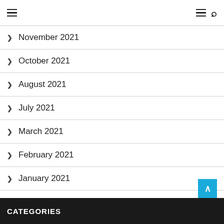Navigation bar with hamburger menu icons and search
November 2021
October 2021
August 2021
July 2021
March 2021
February 2021
January 2021
December 2020
CATEGORIES